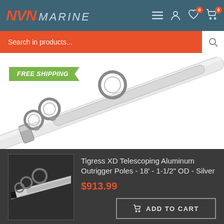[Figure (screenshot): NVN Marine website header with orange NVN logo, MARINE text, hamburger menu, user icon, heart icon with 0 badge, cart icon with 0 badge on teal background]
[Figure (screenshot): Orange search bar with 'Search in products...' placeholder text and white search button with magnifying glass icon]
FREE SHIPPING
[Figure (photo): Close-up photo of a telescoping aluminum outrigger pole tip with black cone tip and three chrome ring guides on white pole]
[Figure (photo): Thumbnail of Tigress XD Telescoping Aluminum Outrigger Poles showing pole at angle with guide rings]
Tigress XD Telescoping Aluminum Outrigger Poles - 18' - 1-1/2" OD - Silver
$913.99
ADD TO CART